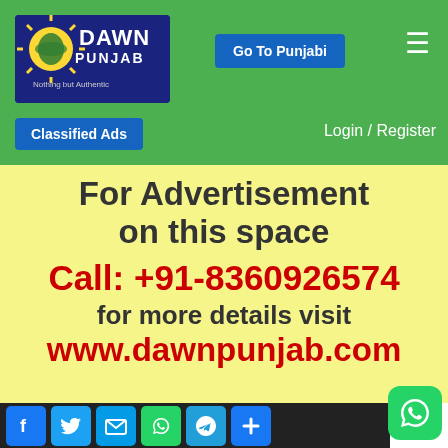[Figure (logo): Dawn Punjab logo — dark blue background with sun icon, text DAWN PUNJAB, tagline Nothing but Authentic]
Go To Punjabi
≡
Classified Ads
Login / Register
For Advertisement on this space
Call: +91-8360926574
for more details visit
www.dawnpunjab.com
[Figure (infographic): Social media icons bar at bottom: Facebook, Twitter, Email, WhatsApp, Telegram, Share buttons]
[Figure (logo): WhatsApp floating button bottom right]